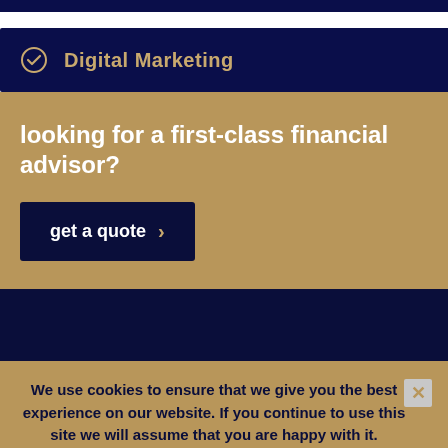Digital Marketing
looking for a first-class financial advisor?
get a quote
We use cookies to ensure that we give you the best experience on our website. If you continue to use this site we will assume that you are happy with it.
Call Now